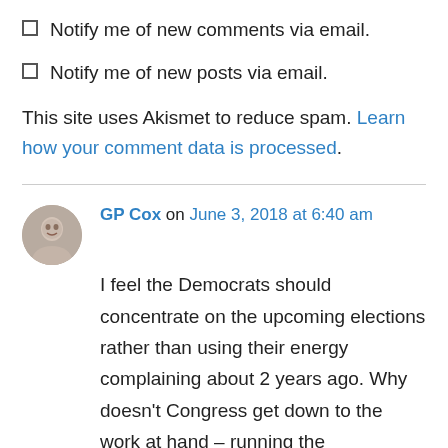Notify me of new comments via email.
Notify me of new posts via email.
This site uses Akismet to reduce spam. Learn how your comment data is processed.
GP Cox on June 3, 2018 at 6:40 am
I feel the Democrats should concentrate on the upcoming elections rather than using their energy complaining about 2 years ago. Why doesn't Congress get down to the work at hand – running the government, passing bills, etc instead of playing the Dem vs. Rep game day in and day out? Don't get me wrong, the Reps are at fault as well.